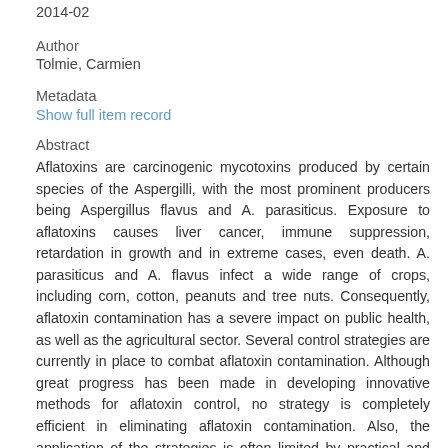2014-02
Author
Tolmie, Carmien
Metadata
Show full item record
Abstract
Aflatoxins are carcinogenic mycotoxins produced by certain species of the Aspergilli, with the most prominent producers being Aspergillus flavus and A. parasiticus. Exposure to aflatoxins causes liver cancer, immune suppression, retardation in growth and in extreme cases, even death. A. parasiticus and A. flavus infect a wide range of crops, including corn, cotton, peanuts and tree nuts. Consequently, aflatoxin contamination has a severe impact on public health, as well as the agricultural sector. Several control strategies are currently in place to combat aflatoxin contamination. Although great progress has been made in developing innovative methods for aflatoxin control, no strategy is completely efficient in eliminating aflatoxin contamination. Also, the application of the strategies is often limited by practical and economic factors. This